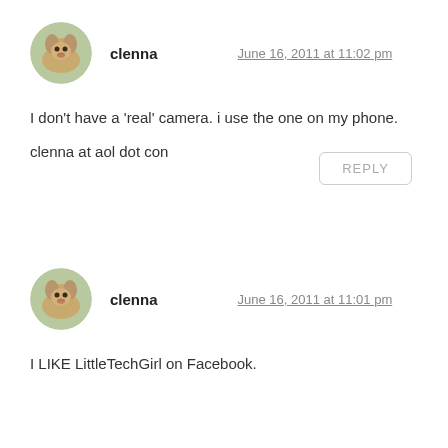[Figure (photo): Circular avatar photo of a golden retriever dog, first comment]
clenna
June 16, 2011 at 11:02 pm
I don't have a 'real' camera. i use the one on my phone.
clenna at aol dot con
REPLY
[Figure (photo): Circular avatar photo of a golden retriever dog, second comment]
clenna
June 16, 2011 at 11:01 pm
I LIKE LittleTechGirl on Facebook.